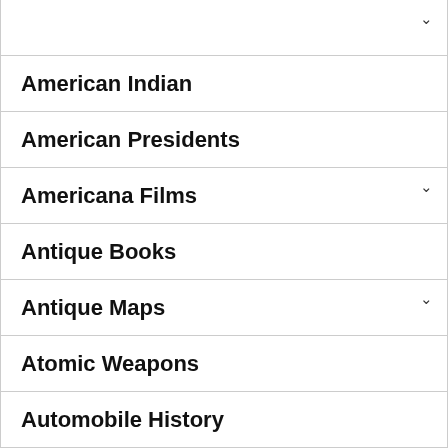American Indian
American Presidents
Americana Films
Antique Books
Antique Maps
Atomic Weapons
Automobile History
Collections at